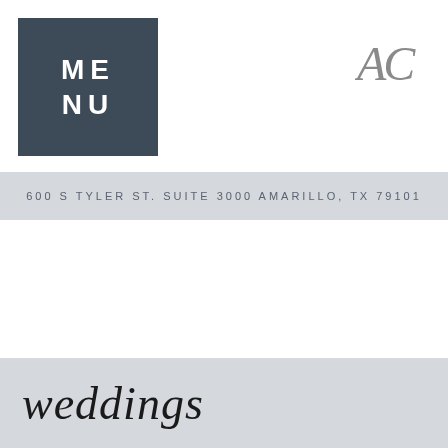MENU
[Figure (logo): AC monogram logo in script/italic font, top right corner]
600 S TYLER ST. SUITE 3000 AMARILLO, TX 79101
weddings